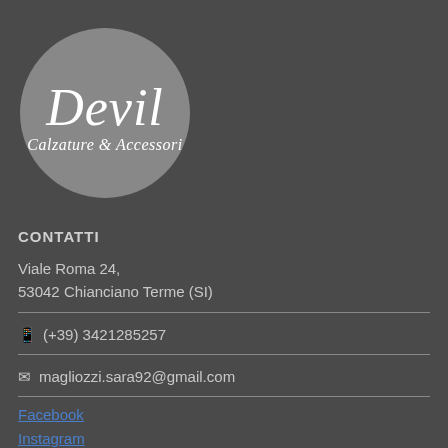[Figure (logo): Circular grey logo with white italic text 'Devil' and subtitle 'Calzature & Accessori']
CONTATTI
Viale Roma 24,
53042 Chianciano Terme (SI)
(+39) 3421285257
magliozzi.sara92@gmail.com
Facebook
Instagram